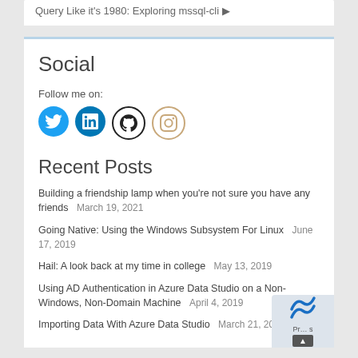Query Like it's 1980: Exploring mssql-cli ▶
Social
Follow me on:
[Figure (illustration): Four social media icons: Twitter (blue bird), LinkedIn (blue), GitHub (black octocat), Instagram (beige camera)]
Recent Posts
Building a friendship lamp when you're not sure you have any friends   March 19, 2021
Going Native: Using the Windows Subsystem For Linux   June 17, 2019
Hail: A look back at my time in college   May 13, 2019
Using AD Authentication in Azure Data Studio on a Non-Windows, Non-Domain Machine   April 4, 2019
Importing Data With Azure Data Studio   March 21, 2019